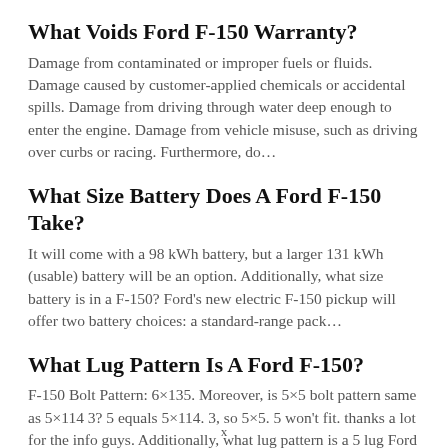What Voids Ford F-150 Warranty?
Damage from contaminated or improper fuels or fluids. Damage caused by customer-applied chemicals or accidental spills. Damage from driving through water deep enough to enter the engine. Damage from vehicle misuse, such as driving over curbs or racing. Furthermore, do…
What Size Battery Does A Ford F-150 Take?
It will come with a 98 kWh battery, but a larger 131 kWh (usable) battery will be an option. Additionally, what size battery is in a F-150? Ford's new electric F-150 pickup will offer two battery choices: a standard-range pack…
What Lug Pattern Is A Ford F-150?
F-150 Bolt Pattern: 6×135. Moreover, is 5×5 bolt pattern same as 5×114 3? 5 equals 5×114. 3, so 5×5. 5 won't fit. thanks a lot for the info guys. Additionally, what lug pattern is a 5 lug Ford f150? The…
x